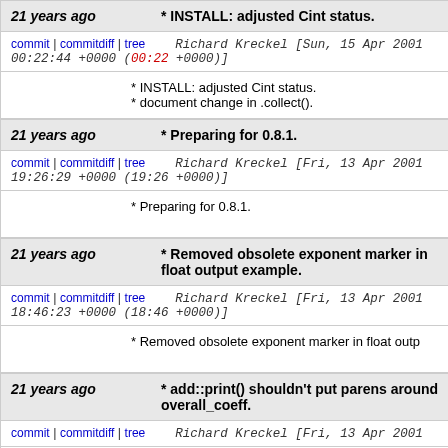21 years ago * INSTALL: adjusted Cint status.
commit | commitdiff | tree   Richard Kreckel [Sun, 15 Apr 2001 00:22:44 +0000 (00:22 +0000)]
* INSTALL: adjusted Cint status.
* document change in .collect().
21 years ago * Preparing for 0.8.1.
commit | commitdiff | tree   Richard Kreckel [Fri, 13 Apr 2001 19:26:29 +0000 (19:26 +0000)]
* Preparing for 0.8.1.
21 years ago * Removed obsolete exponent marker in float output example.
commit | commitdiff | tree   Richard Kreckel [Fri, 13 Apr 2001 18:46:23 +0000 (18:46 +0000)]
* Removed obsolete exponent marker in float outp
21 years ago * add::print() shouldn't put parens around overall_coeff.
commit | commitdiff | tree   Richard Kreckel [Fri, 13 Apr 2001